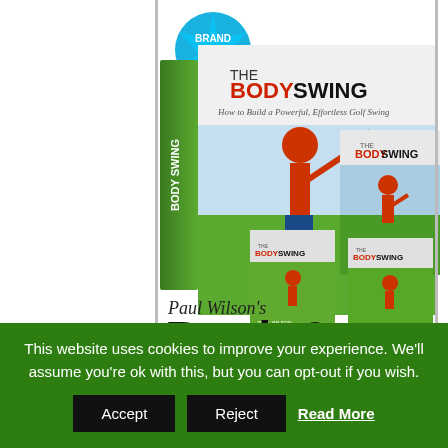[Figure (photo): Product bundle image showing 'The Body Swing' book by Paul Wilson with a DVD case and two smaller books/DVDs. The book cover shows a golfer in a red shirt mid-swing. A 'BRAND NEW' starburst badge appears in the upper left. Title text 'THE BODY SWING' appears prominently on the main book cover in red and black.]
Paul Wilson's
Book &
Video Series
This website uses cookies to improve your experience. We'll assume you're ok with this, but you can opt-out if you wish.
Accept   Reject   Read More